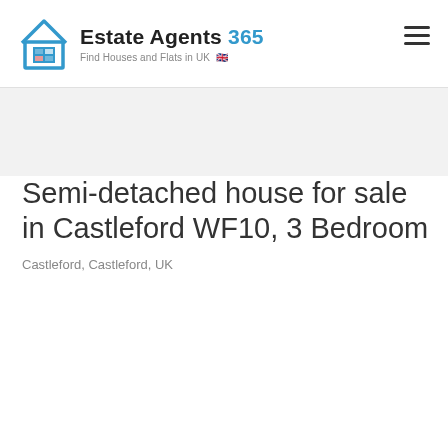Estate Agents 365 – Find Houses and Flats in UK
Semi-detached house for sale in Castleford WF10, 3 Bedroom
Castleford, Castleford, UK